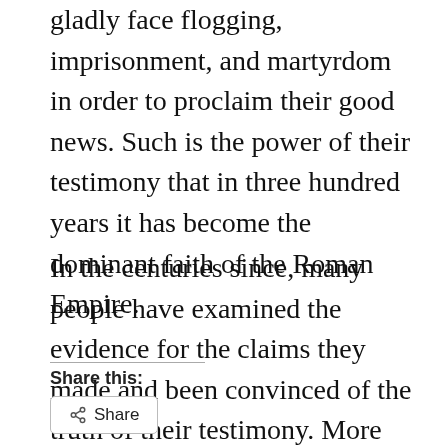gladly face flogging, imprisonment, and martyrdom in order to proclaim their good news. Such is the power of their testimony that in three hundred years it has become the dominant faith of the Roman Empire.
In the centuries since, many people have examined the evidence for the claims they made and been convinced of the truth of their testimony. More importantly, those people have entered in to the assurance that, because of Christ's rising, they too will enter into transformed life beyond the grave.
Share this:
[Figure (other): A share button with a share icon and the label 'Share']